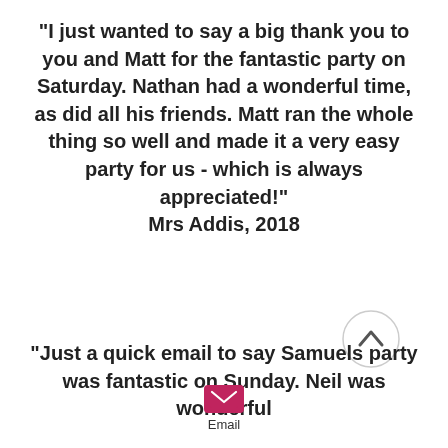"I just wanted to say a big thank you to you and Matt for the fantastic party on Saturday. Nathan had a wonderful time, as did all his friends. Matt ran the whole thing so well and made it a very easy party for us - which is always appreciated!" Mrs Addis, 2018
"Just a quick email to say Samuels party was fantastic on Sunday. Neil was wonderful
[Figure (other): Circular scroll-to-top button with upward chevron arrow]
[Figure (other): Pink/magenta email envelope icon button with label 'Email']